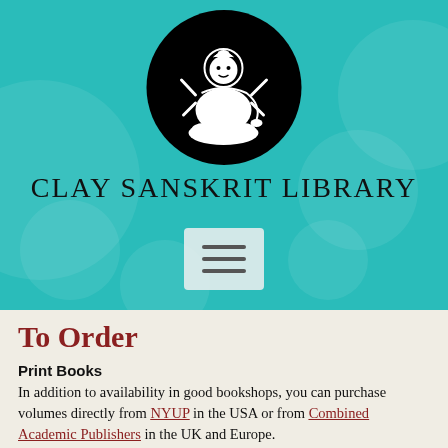[Figure (logo): Clay Sanskrit Library logo: black circle containing a white illustration of a Hindu goddess (Saraswati) playing veena, seated on a lotus]
CLAY SANSKRIT LIBRARY
[Figure (other): Hamburger menu button icon with three horizontal lines on a light semi-transparent background]
To Order
Print Books
In addition to availability in good bookshops, you can purchase volumes directly from NYUP in the USA or from Combined Academic Publishers in the UK and Europe.